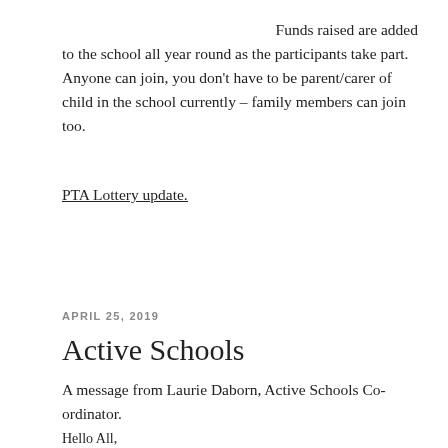Funds raised are added to the school all year round as the participants take part. Anyone can join, you don't have to be parent/carer of child in the school currently – family members can join too.
PTA Lottery update.
APRIL 25, 2019
Active Schools
A message from Laurie Daborn, Active Schools Co-ordinator.
Hello All,